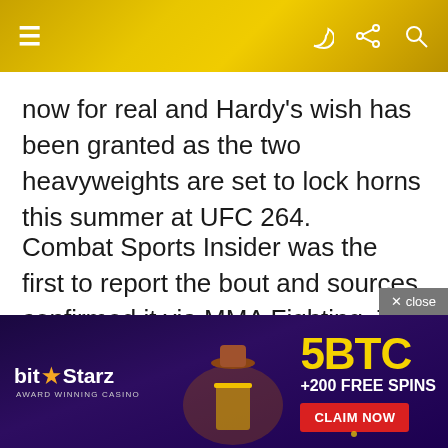≡ [navigation icons]
now for real and Hardy's wish has been granted as the two heavyweights are set to lock horns this summer at UFC 264.
Combat Sports Insider was the first to report the bout and sources confirmed it via MMA Fighting. The sources requested anonymity because the UFC has not officially announced the bout.
[Figure (screenshot): × close button overlay on white background]
[Figure (infographic): BitStarz Award Winning Casino advertisement banner: 5BTC +200 FREE SPINS with CLAIM NOW button, purple/dark background with character illustrations]